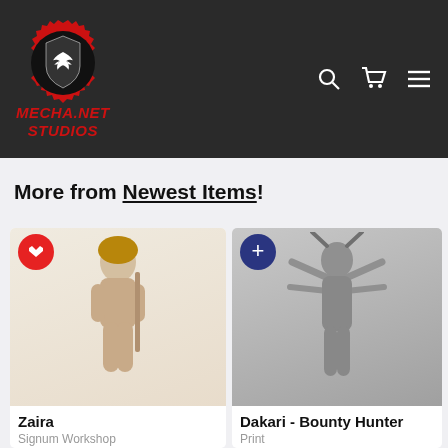[Figure (logo): Mecha.Net Studios logo: red gear with black shield and white bird/raven silhouette, with red italic bold text 'MECHA.NET STUDIOS' below]
[Figure (screenshot): Navigation icons: search (magnifier), cart, and hamburger menu in white on dark background]
More from Newest Items!
[Figure (photo): 3D miniature figure of Zaira - a female warrior character in tan/beige resin, posed with a sword]
Zaira
Signum Workshop
[Figure (photo): 3D printed miniature of Dakari - Bounty Hunter, a multi-armed character in grey resin holding weapons]
Dakari - Bounty Hunter
Print
[Figure (photo): Partial view of a third miniature figure, partially cut off on the right edge, grey resin]
Diablo
Print